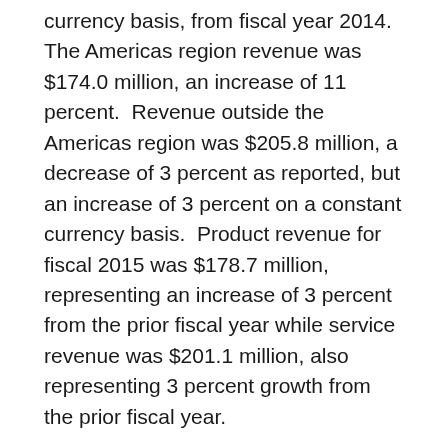currency basis, from fiscal year 2014. The Americas region revenue was $174.0 million, an increase of 11 percent. Revenue outside the Americas region was $205.8 million, a decrease of 3 percent as reported, but an increase of 3 percent on a constant currency basis. Product revenue for fiscal 2015 was $178.7 million, representing an increase of 3 percent from the prior fiscal year while service revenue was $201.1 million, also representing 3 percent growth from the prior fiscal year.
Gross profit margin for the year ended June 30, 2015 was 38 percent, comprised of product gross margin of 42 percent and service gross margin of 35 percent. This compares to total gross margin of 39 percent for the prior fiscal year. Total gross margin for the year ended June 30, 2015 was 40 percent on a constant currency basis.